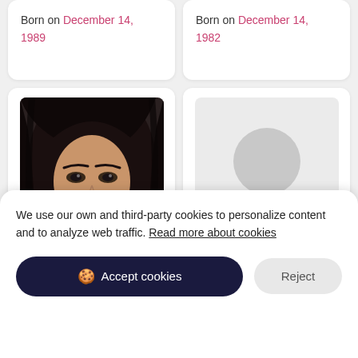Born on December 14, 1989
Born on December 14, 1982
[Figure (photo): Portrait photo of a young woman with long dark hair, wearing makeup, posed with hand near chin]
[Figure (illustration): Generic gray silhouette placeholder avatar of a person]
We use our own and third-party cookies to personalize content and to analyze web traffic. Read more about cookies
Accept cookies
Reject